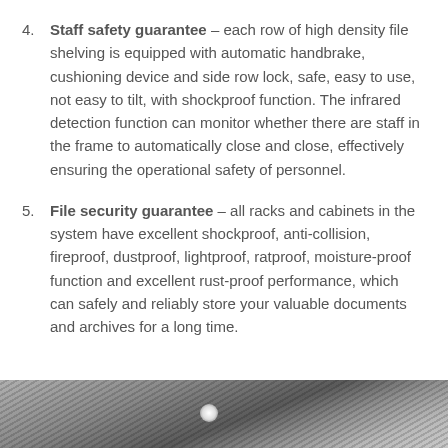Staff safety guarantee – each row of high density file shelving is equipped with automatic handbrake, cushioning device and side row lock, safe, easy to use, not easy to tilt, with shockproof function. The infrared detection function can monitor whether there are staff in the frame to automatically close and close, effectively ensuring the operational safety of personnel.
File security guarantee – all racks and cabinets in the system have excellent shockproof, anti-collision, fireproof, dustproof, lightproof, ratproof, moisture-proof function and excellent rust-proof performance, which can safely and reliably store your valuable documents and archives for a long time.
[Figure (photo): Bottom strip showing diagonal metallic shelving rails or tracks in grayscale with a small light reflection visible.]